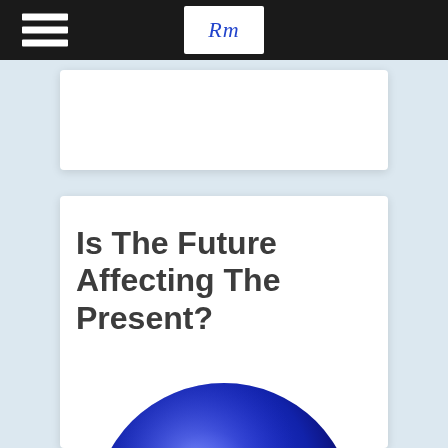RM
Is The Future Affecting The Present?
[Figure (illustration): Partial view of a shiny dark blue sphere or globe, shown from the lower portion, with a lighter reflection highlight on its surface. The sphere is cropped at the bottom of the page.]